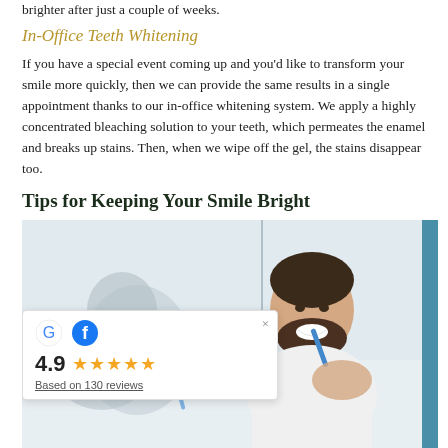brighter after just a couple of weeks.
In-Office Teeth Whitening
If you have a special event coming up and you'd like to transform your smile more quickly, then we can provide the same results in a single appointment thanks to our in-office whitening system. We apply a highly concentrated bleaching solution to your teeth, which permeates the enamel and breaks up stains. Then, when we wipe off the gel, the stains disappear too.
Tips for Keeping Your Smile Bright
[Figure (photo): A man brushing his teeth in a bathroom mirror, smiling, reflected in mirror. Photo has a teal blue border on the right side.]
Naturally, you'll want to maintain the results of your teeth whitening treatment for as long as possible. Your smile can stay